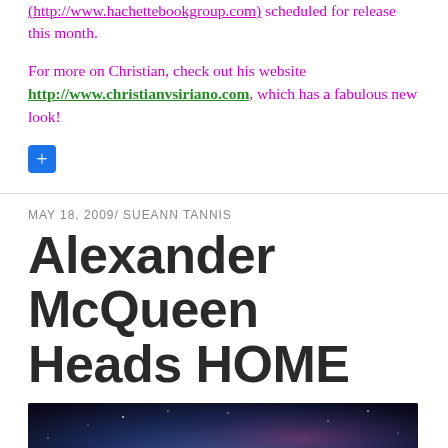(http://www.hachettebookgroup.com) scheduled for release this month.
For more on Christian, check out his website http://www.christianvsiriano.com, which has a fabulous new look!
+
MAY 18, 2009/ SUEANN TANNIS
Alexander McQueen Heads HOME
[Figure (photo): Night sky photo with glowing celestial body or planet rising, stars visible, purple and blue tones]